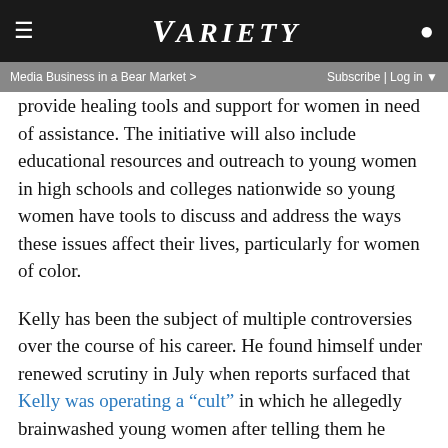VARIETY
Media Business in a Bear Market >   Subscribe | Log in
provide healing tools and support for women in need of assistance. The initiative will also include educational resources and outreach to young women in high schools and colleges nationwide so young women have tools to discuss and address the ways these issues affect their lives, particularly for women of color.
Kelly has been the subject of multiple controversies over the course of his career. He found himself under renewed scrutiny in July when reports surfaced that Kelly was operating a “cult” in which he allegedly brainwashed young women after telling them he could help their musical careers. He is said to have kept multiple young women at his homes in both Chicago and Atlanta, cutting off their communication with their families, and abusing them both mentally and physically.
ADVERTISEMENT